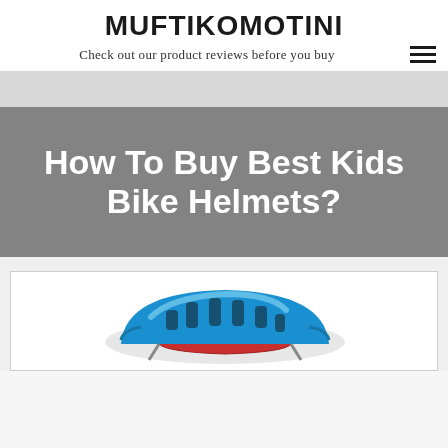MUFTIKOMOTINI
Check out our product reviews before you buy
How To Buy Best Kids Bike Helmets?
[Figure (photo): Blue kids bike helmet photographed against a white background]